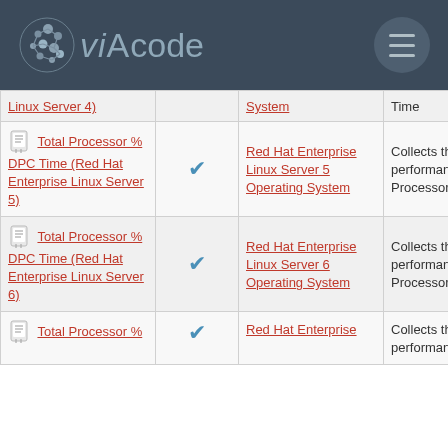VIAcode
| Name |  | Category | Description |
| --- | --- | --- | --- |
| Linux Server 4) |  | System | Time |
| Total Processor % DPC Time (Red Hat Enterprise Linux Server 5) | ✓ | Red Hat Enterprise Linux Server 5 Operating System | Collects the performance counter Processor Time |
| Total Processor % DPC Time (Red Hat Enterprise Linux Server 6) | ✓ | Red Hat Enterprise Linux Server 6 Operating System | Collects the performance counter Processor Time |
| Total Processor % | ✓ | Red Hat Enterprise | Collects the performance |